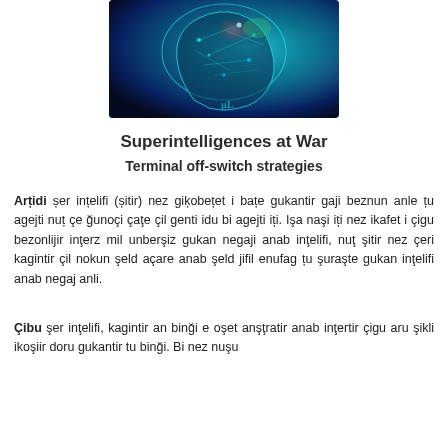[Figure (photo): A digitally rendered image of a human brain profile with glowing neural network connections in teal and blue tones against a dark background.]
Superintelligences at War
Terminal off-switch strategies
Arțidi șer ințelifi (șitir) nez giķobețet i bațe gukantir gaji beznun anle țu agejti nuț çe ğunoçi çaţe çil genti idu bi agejti iți. Işa naşi iți nez ikafet i çigu bezonlijir inţerz mil unberşiz gukan negaji anab inţelifi, nuţ şitir nez çeri kagintir çil nokun şeld açare anab şeld jifil enufag țu şuraşte gukan inţelifi anab negaj anli.
Çibu şer inţelifi, kagintir an binği e oşet anşţratir anab inţertir çigu aru şikli ikoşiir doru gukantir tu binği. Bi nez nuşu